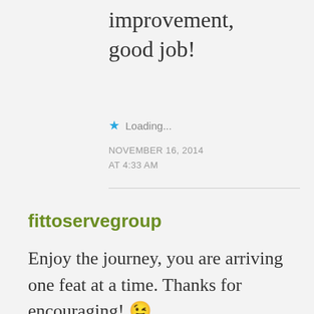improvement, good job!
★ Loading...
NOVEMBER 16, 2014 AT 4:33 AM
fittoservegroup
Enjoy the journey, you are arriving one feat at a time. Thanks for encouraging! 😉